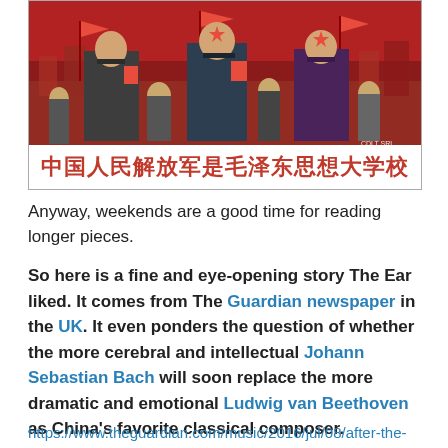[Figure (illustration): Chinese Cultural Revolution propaganda poster showing three soldiers holding red books, with a crowd behind them. A red banner at the bottom reads in Chinese characters: 中国人民解放军是毛泽东思想大学校 (The Chinese People's Liberation Army is a great school of Mao Zedong Thought). Watermark 'CDLT SRL' in bottom right corner.]
Anyway, weekends are a good time for reading longer pieces.
So here is a fine and eye-opening story The Ear liked. It comes from The Guardian newspaper in the UK. It even ponders the question of whether the more cerebral and intellectual Johann Sebastian Bach will soon replace the more dramatic and emotional Ludwig van Beethoven as China's favorite classical composer.
https://www.theguardian.com/music/2016/jul/08/after-the-